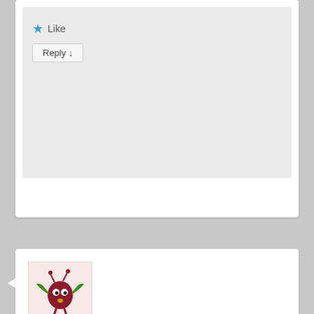[Figure (other): Like button with blue star icon and Reply button in gray comment box area]
[Figure (illustration): Cartoon avatar of a red/maroon creature with green arms and antennae on pink background]
Purple snowdrop on August 12, 2017 at 11:02 am said:
Thank you so much for all the narcissist playlists. I've been adding to my Spotify this morning 😐 Can't seem to comment on the relevant posts, but if you do any in the future: